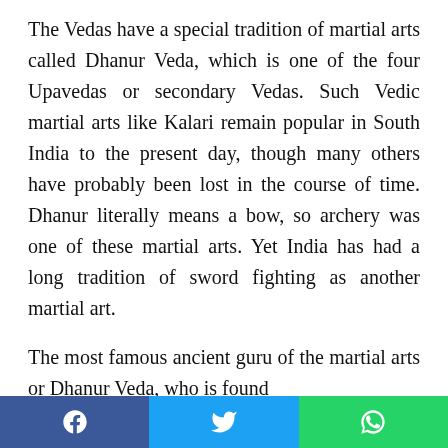The Vedas have a special tradition of martial arts called Dhanur Veda, which is one of the four Upavedas or secondary Vedas. Such Vedic martial arts like Kalari remain popular in South India to the present day, though many others have probably been lost in the course of time. Dhanur literally means a bow, so archery was one of these martial arts. Yet India has had a long tradition of sword fighting as another martial art.
The most famous ancient guru of the martial arts or Dhanur Veda, who is found
[Figure (other): Social share bar with three buttons: Facebook (blue), Twitter (light blue), WhatsApp (green)]